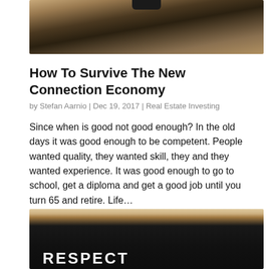[Figure (photo): Partial photo showing a person holding a phone, cropped at top]
How To Survive The New Connection Economy
by Stefan Aarnio | Dec 19, 2017 | Real Estate Investing
Since when is good not good enough? In the old days it was good enough to be competent. People wanted quality, they wanted skill, they and they wanted experience. It was good enough to go to school, get a diploma and get a good job until you turn 65 and retire. Life…
[Figure (photo): Person wearing a black sweatshirt with 'RESPECT' text, cropped showing torso]